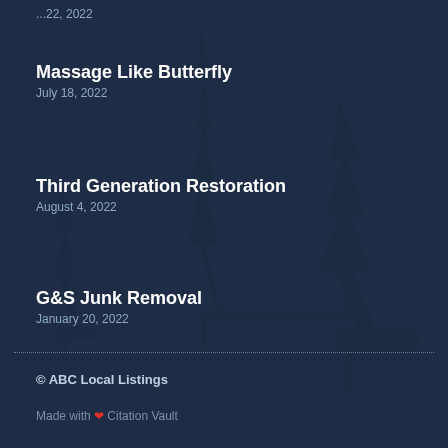...22, 2022 (truncated at top)
Massage Like Butterfly
July 18, 2022
Third Generation Restoration
August 4, 2022
G&S Junk Removal
January 20, 2022
© ABC Local Listings
Made with ❤ Citation Vault